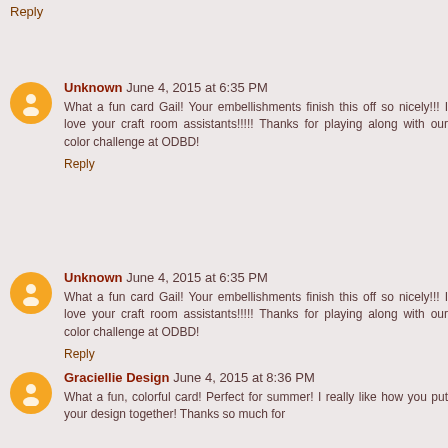Reply
Unknown June 4, 2015 at 6:35 PM
What a fun card Gail! Your embellishments finish this off so nicely!!! I love your craft room assistants!!!!! Thanks for playing along with our color challenge at ODBD!
Reply
Unknown June 4, 2015 at 6:35 PM
What a fun card Gail! Your embellishments finish this off so nicely!!! I love your craft room assistants!!!!! Thanks for playing along with our color challenge at ODBD!
Reply
Graciellie Design June 4, 2015 at 8:36 PM
What a fun, colorful card! Perfect for summer! I really like how you put your design together! Thanks so much for